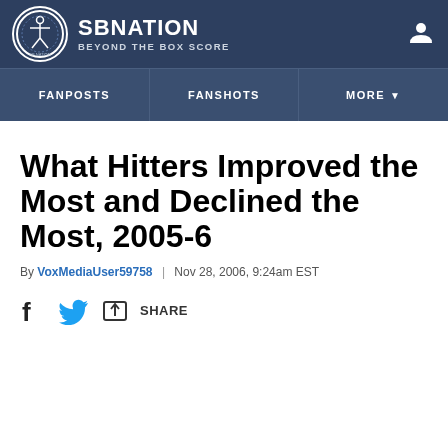SB NATION | BEYOND THE BOX SCORE
What Hitters Improved the Most and Declined the Most, 2005-6
By VoxMediaUser59758 | Nov 28, 2006, 9:24am EST
SHARE